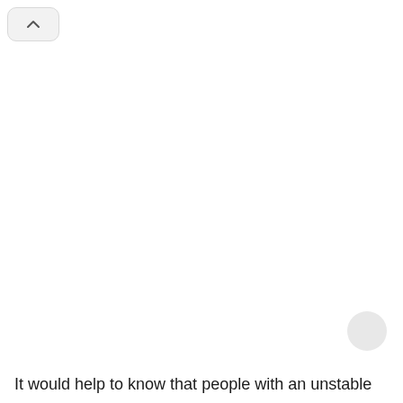[Figure (other): A rounded rectangle button with an upward chevron (caret) icon, positioned at the top-left corner of the page.]
[Figure (other): A circular grey icon button positioned at the bottom-right area of the page.]
It would help to know that people with an unstable